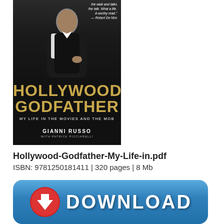[Figure (photo): Book cover of 'Hollywood Godfather: My Life in the Movies and the Mob' by Gianni Russo with Patrick Picciarelli. Dark background with a man in a suit seated, gold title text, with a quote from Robert De Niro at top.]
Hollywood-Godfather-My-Life-in.pdf
ISBN: 9781250181411 | 320 pages | 8 Mb
[Figure (illustration): Blue rounded download button with a red circular download arrow icon on the left and white bold text 'DOWNLOAD' on the right.]